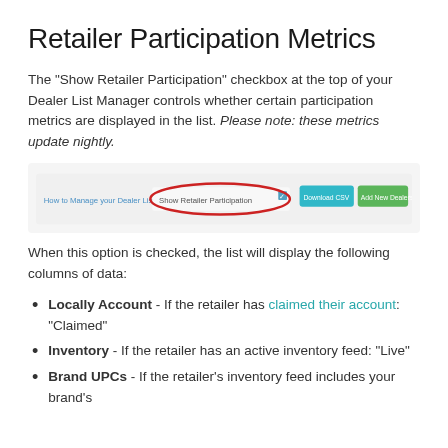Retailer Participation Metrics
The "Show Retailer Participation" checkbox at the top of your Dealer List Manager controls whether certain participation metrics are displayed in the list. Please note: these metrics update nightly.
[Figure (screenshot): Screenshot of the Dealer List Manager toolbar showing buttons: 'How to Manage your Dealer List' (link), 'Show Retailer Participation' checkbox (highlighted with red oval), 'Download CSV' (teal button), 'Add New Dealers' (green button).]
When this option is checked, the list will display the following columns of data:
Locally Account - If the retailer has claimed their account: "Claimed"
Inventory - If the retailer has an active inventory feed: "Live"
Brand UPCs - If the retailer's inventory feed includes your brand's